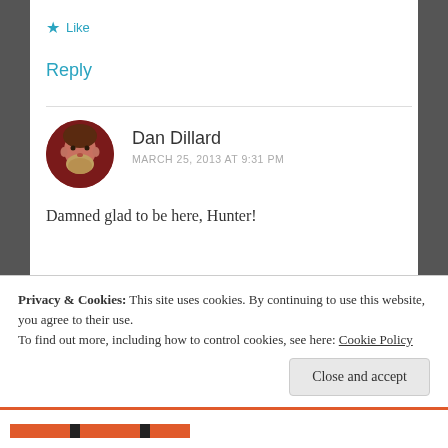★ Like
Reply
Dan Dillard
MARCH 25, 2013 AT 9:31 PM
[Figure (photo): Circular avatar photo of Dan Dillard, a man with a beard]
Damned glad to be here, Hunter!
★ Like
Privacy & Cookies: This site uses cookies. By continuing to use this website, you agree to their use.
To find out more, including how to control cookies, see here: Cookie Policy
Close and accept